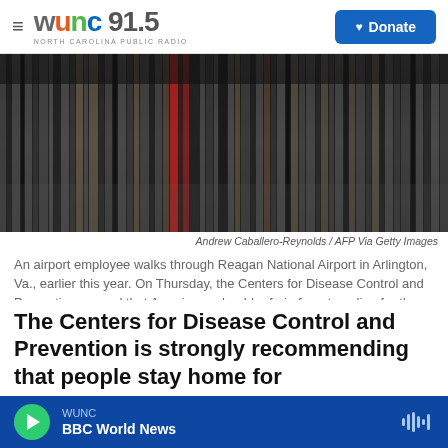WUNC 91.5 NORTH CAROLINA PUBLIC RADIO | Donate
[Figure (photo): Blurred motion photo of an airport terminal interior with vertical streaks of light and color, showing luggage racks and reflective floors at Reagan National Airport.]
Andrew Caballero-Reynolds / AFP Via Getty Images
An airport employee walks through Reagan National Airport in Arlington, Va., earlier this year. On Thursday, the Centers for Disease Control and Prevention warned that Americans should refrain from traveling for the upcoming holiday.
The Centers for Disease Control and Prevention is strongly recommending that people stay home for
WUNC BBC World News